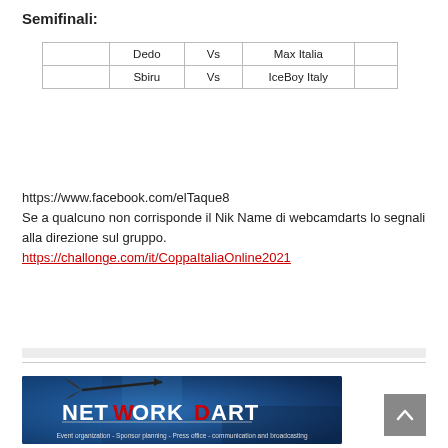Semifinali:
|  | Dedo | Vs | Max Italia |  |
| --- | --- | --- | --- | --- |
|  | Sbiru | Vs | IceBoy Italy |  |
https://www.facebook.com/elTaque8
Se a qualcuno non corrisponde il Nik Name di webcamdarts lo segnali alla direzione sul gruppo.
https://challonge.com/it/CoppaItaliaOnline2021
[Figure (logo): Network Dart banner logo with blue textured background, dart icon, bold text 'NETWORK DART' with red W, subtitle: Event organization - Sponsor planning - Press office - communication and broadcasting]